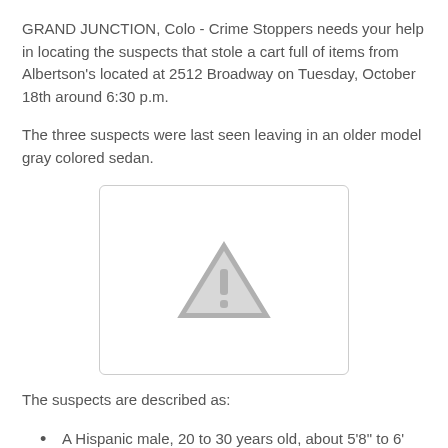GRAND JUNCTION, Colo - Crime Stoppers needs your help in locating the suspects that stole a cart full of items from Albertson's located at 2512 Broadway on Tuesday, October 18th around 6:30 p.m.
The three suspects were last seen leaving in an older model gray colored sedan.
[Figure (other): Image placeholder with a warning/exclamation triangle icon, indicating an unavailable or broken image.]
The suspects are described as:
A Hispanic male, 20 to 30 years old, about 5'8" to 6' tall, with an average build and dark hair.
First Hispanic female, 15 to 25 years old, about